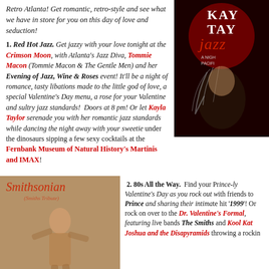Retro Atlanta! Get romantic, retro-style and see what we have in store for you on this day of love and seduction!
[Figure (photo): Kayla Taylor jazz promotional image — dark background with woman and text reading KAY TAY jazz A NIGHT PACIFI]
1. Red Hot Jazz. Get jazzy with your love tonight at the Crimson Moon, with Atlanta's Jazz Diva, Tommie Macon (Tommie Macon & The Gentle Men) and her Evening of Jazz, Wine & Roses event! It'll be a night of romance, tasty libations made to the little god of love, a special Valentine's Day menu, a rose for your Valentine and sultry jazz standards! Doors at 8 pm! Or let Kayla Taylor serenade you with her romantic jazz standards while dancing the night away with your sweetie under the dinosaurs sipping a few sexy cocktails at the Fernbank Museum of Natural History's Martinis and IMAX!
[Figure (photo): Smithsonian album cover — Andrew and the Disapyramids, sepia-toned photo of person dancing]
2. 80s All the Way. Find your Prince-ly Valentine's Day as you rock out with friends to Prince and sharing their intimate hit '1999'! Or rock on over to the Dr. Valentines Formal, featuring live bands The Smiths and Kool Kat Joshua and the Disapyramids throwing a rockin...